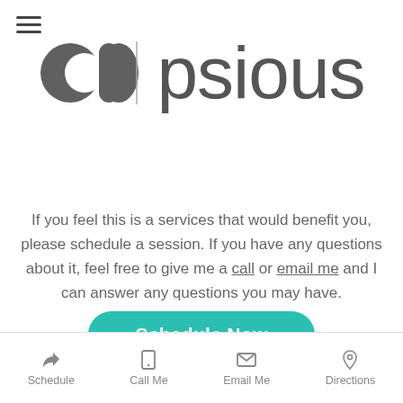[Figure (logo): Psious logo with pill/capsule icon on left and 'psious' text on right in dark grey]
If you feel this is a services that would benefit you, please schedule a session. If you have any questions about it, feel free to give me a call or email me and I can answer any questions you may have.
[Figure (other): Teal rounded rectangle button with white bold text 'Schedule Now']
Schedule   Call Me   Email Me   Directions